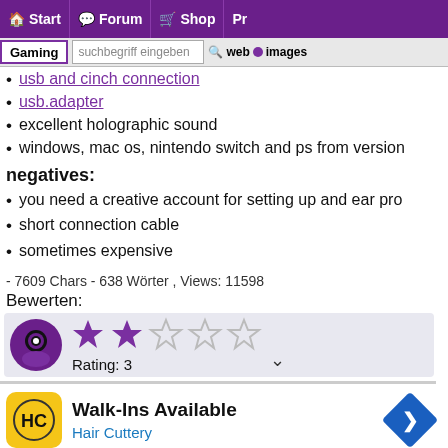Start | Forum | Shop | Pr
Gaming | suchbegriff eingeben | web | images
usb and cinch connection
usb.adapter
excellent holographic sound
windows, mac os, nintendo switch and ps from version
negatives:
you need a creative account for setting up and ear pro
short connection cable
sometimes expensive
- 7609 Chars - 638 Wörter , Views: 11598
Bewerten:
[Figure (other): Rating widget with avatar icon and 5 stars (2 filled purple, 3 empty), Rating: 3]
Rating: 3
[Figure (other): Advertisement: Walk-Ins Available - Hair Cuttery with HC logo and navigation arrow]